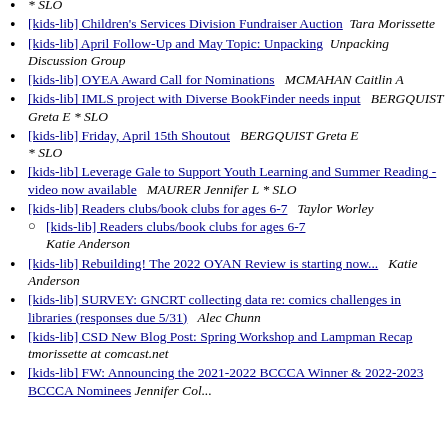* SLO
[kids-lib] Children's Services Division Fundraiser Auction  Tara Morissette
[kids-lib] April Follow-Up and May Topic: Unpacking  Unpacking Discussion Group
[kids-lib] OYEA Award Call for Nominations  MCMAHAN Caitlin A
[kids-lib] IMLS project with Diverse BookFinder needs input  BERGQUIST Greta E * SLO
[kids-lib] Friday, April 15th Shoutout  BERGQUIST Greta E * SLO
[kids-lib] Leverage Gale to Support Youth Learning and Summer Reading - video now available  MAURER Jennifer L * SLO
[kids-lib] Readers clubs/book clubs for ages 6-7  Taylor Worley
[kids-lib] Readers clubs/book clubs for ages 6-7  Katie Anderson
[kids-lib] Rebuilding! The 2022 OYAN Review is starting now...  Katie Anderson
[kids-lib] SURVEY: GNCRT collecting data re: comics challenges in libraries (responses due 5/31)  Alec Chunn
[kids-lib] CSD New Blog Post: Spring Workshop and Lampman Recap  tmorissette at comcast.net
[kids-lib] FW: Announcing the 2021-2022 BCCCA Winner & 2022-2023 BCCCA Nominees  Jennifer Cole...